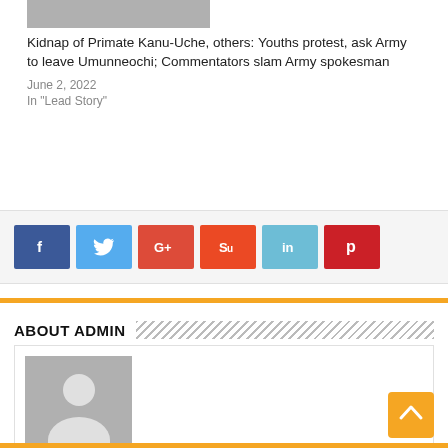[Figure (photo): Thumbnail image of article about Primate Kanu-Uche kidnapping]
Kidnap of Primate Kanu-Uche, others: Youths protest, ask Army to leave Umunneochi; Commentators slam Army spokesman
June 2, 2022
In "Lead Story"
[Figure (infographic): Social media share buttons: Facebook, Twitter, Google+, StumbleUpon, LinkedIn, Pinterest]
ABOUT ADMIN
[Figure (photo): Default admin avatar placeholder image with silhouette]